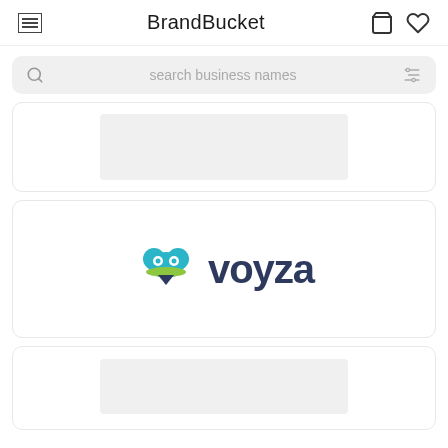BrandBucket
[Figure (screenshot): Search bar with placeholder text 'search business names' and filter icon]
[Figure (logo): Partial card at top showing a gray placeholder image]
[Figure (logo): Voyza brand logo with teal circular icon and dark blue 'voyza' text]
[Figure (screenshot): Partial card at bottom showing a gray placeholder image]